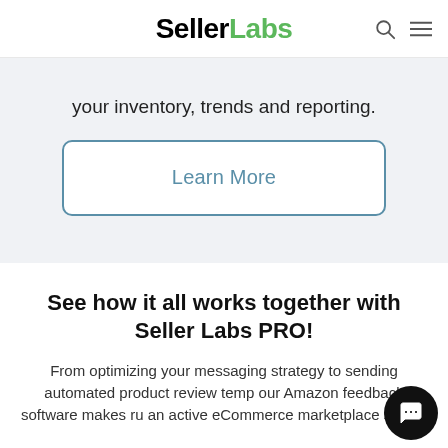SellerLabs
your inventory, trends and reporting.
Learn More
See how it all works together with Seller Labs PRO!
From optimizing your messaging strategy to sending automated product review templates, our Amazon feedback software makes running an active eCommerce marketplace simple